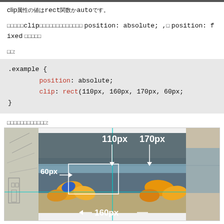clip属性の値はrect関数かautoです。
clipが使えるのはpositionプロパティが position: absolute; か position: fixed のときだけです。
例:
.example {
  position: absolute;
  clip: rect(110px, 160px, 170px, 60px;
}
実行結果は以下のとおりです:
[Figure (illustration): Diagram showing CSS clip rect function applied to a beach photo with labeled dimensions: 110px (top), 170px (right), 160px (bottom), 60px (left), with a cyan crosshair overlay showing the clipped region.]